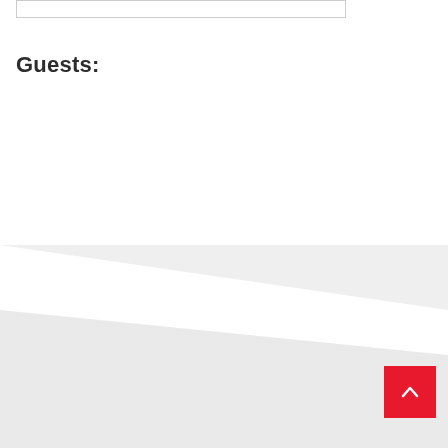Guests:
[Figure (illustration): Diagonal white and light grey background shapes in the lower portion of the page, with a red square back-to-top button with a white upward chevron arrow in the bottom right corner.]